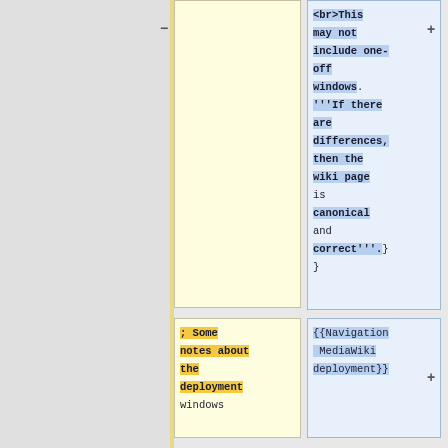<br>This may not include one-off windows. '''If there are differences, then the wiki page is canonical and correct'''.}}
; Some notes about the deployment windows
{{Navigation MediaWiki deployment}}
* '''It is
This page